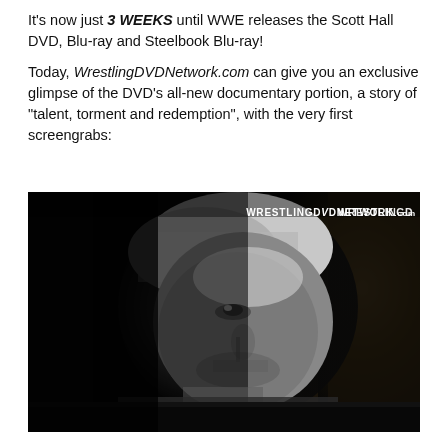It's now just 3 WEEKS until WWE releases the Scott Hall DVD, Blu-ray and Steelbook Blu-ray!
Today, WrestlingDVDNetwork.com can give you an exclusive glimpse of the DVD's all-new documentary portion, a story of "talent, torment and redemption", with the very first screengrabs:
[Figure (photo): Black and white dramatic portrait photo of Scott Hall looking upward, with a WRESTLINGDVDNETWORK.com watermark in the upper right corner.]